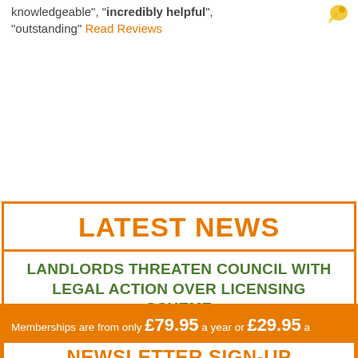knowledgeable", "incredibly helpful", "outstanding" Read Reviews
LATEST NEWS
LANDLORDS THREATEN COUNCIL WITH LEGAL ACTION OVER LICENSING SCHEME
Memberships are from only £79.95 a year or £29.95 a quarter
NEWSLETTER SIGN-UP